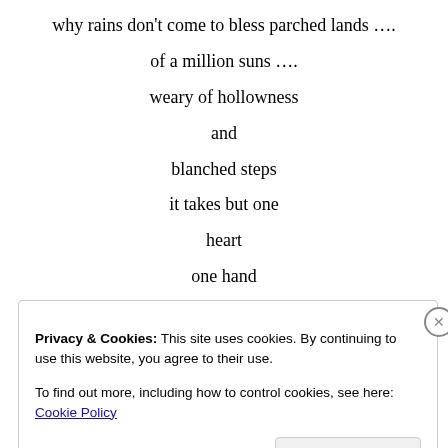why rains don't come to bless parched lands ….
of a million suns ….
weary of hollowness
and
blanched steps
it takes but one
heart
one hand
to
create
a
Privacy & Cookies: This site uses cookies. By continuing to use this website, you agree to their use.
To find out more, including how to control cookies, see here: Cookie Policy
Close and accept